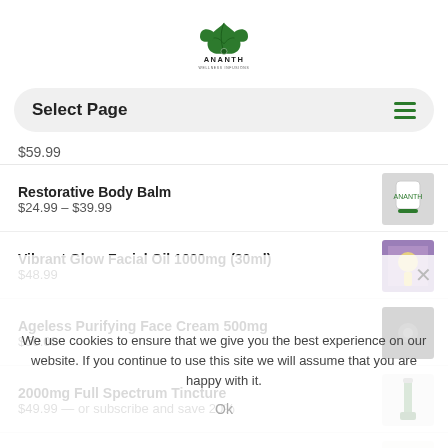Ananth Wellness Infusions logo
Select Page
$59.99
Restorative Body Balm
$24.99 – $39.99
Vibrant Glow Facial Oil 1000mg (30ml)
$48.99
Ageless Purifying Face Cream 500mg
$50.00
2000mg Full Spectrum Tincture
$49.99 — or subscribe and save 20%
Solace Salve
$22.99 – $39.99
We use cookies to ensure that we give you the best experience on our website. If you continue to use this site we will assume that you are happy with it.